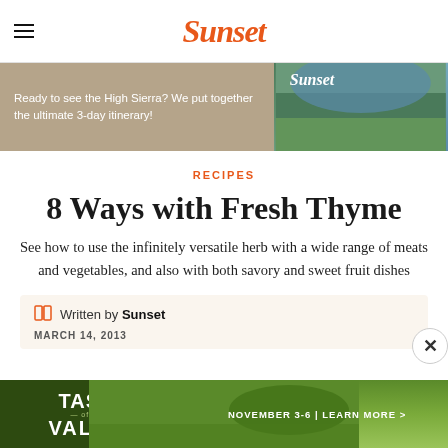Sunset
[Figure (other): Advertisement banner: 'Ready to see the High Sierra? We put together the ultimate 3-day itinerary!' with Sunset logo and mountain lake photo]
RECIPES
8 Ways with Fresh Thyme
See how to use the infinitely versatile herb with a wide range of meats and vegetables, and also with both savory and sweet fruit dishes
Written by Sunset
MARCH 14, 2013
[Figure (other): Advertisement banner: 'TASTE OF THE VALLEY - NOVEMBER 3-6 | LEARN MORE >' with landscape background]